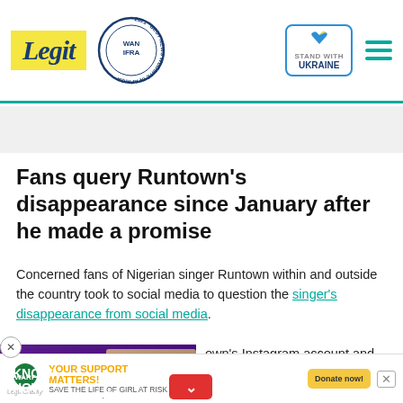Legit | WAN IFRA 2021 Best News Website in Africa | Stand with Ukraine
Fans query Runtown's disappearance since January after he made a promise
Concerned fans of Nigerian singer Runtown within and outside the country took to social media to question the singer's disappearance from social media.
[Figure (photo): Video thumbnail overlay showing two people with purple background and text: DIDN'T KNOW HOW TO LOVE]
own's Instagram account and ared a post was in November o of himself.
his new album titled Sign,
[Figure (other): Legit Charity advertisement banner: YOUR SUPPORT MATTERS! SAVE THE LIFE OF GIRL AT RISK - Donate now!]